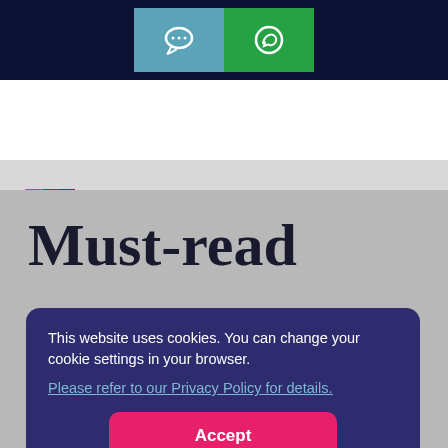[Figure (screenshot): Top navigation bar with dark navy background containing a teal chat button and green WhatsApp button]
[Figure (logo): Masterstart logo with colorful M icon and MASTERSTART text in dark navy, plus hamburger menu icon on the right]
Must-read
This website uses cookies. You can change your cookie settings in your browser.
Please refer to our Privacy Policy for details.
Accept